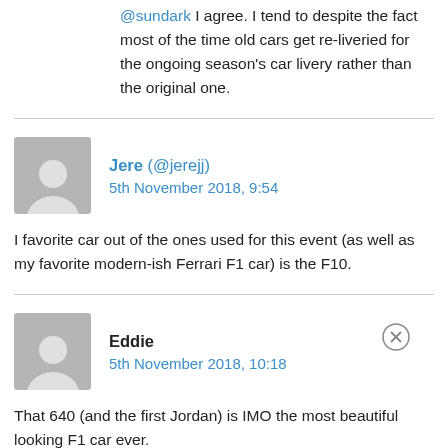@sundark I agree. I tend to despite the fact most of the time old cars get re-liveried for the ongoing season's car livery rather than the original one.
Jere (@jerejj)
5th November 2018, 9:54
I favorite car out of the ones used for this event (as well as my favorite modern-ish Ferrari F1 car) is the F10.
Eddie
5th November 2018, 10:18
That 640 (and the first Jordan) is IMO the most beautiful looking F1 car ever.

That is F1!